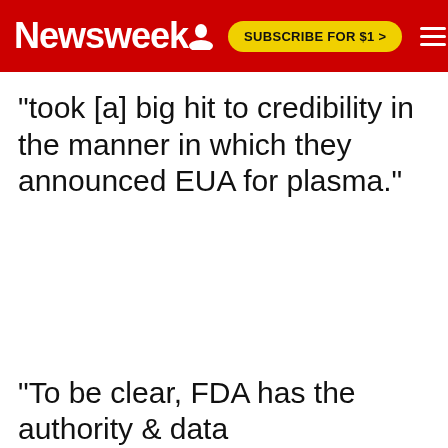Newsweek | SUBSCRIBE FOR $1 >
"took [a] big hit to credibility in the manner in which they announced EUA for plasma."
"To be clear, FDA has the authority & data